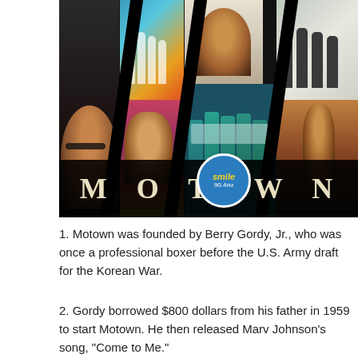[Figure (photo): Motown promotional collage image with artist photos arranged in diagonal slash panels spelling out MOTOWN at the bottom, with a Smile 90.4fm radio station logo overlay]
1. Motown was founded by Berry Gordy, Jr., who was once a professional boxer before the U.S. Army draft for the Korean War.
2. Gordy borrowed $800 dollars from his father in 1959 to start Motown. He then released Marv Johnson's song, "Come to Me."